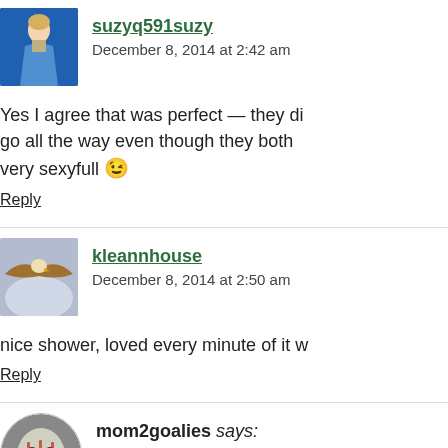suzyq591suzy says: December 8, 2014 at 2:42 am
Yes I agree that was perfect — they did go all the way even though they both very sexyfull 😉
Reply
kleannhouse says: December 8, 2014 at 2:50 am
nice shower, loved every minute of it
Reply
mom2goalies says: December 8, 2014 at 12:50 pm